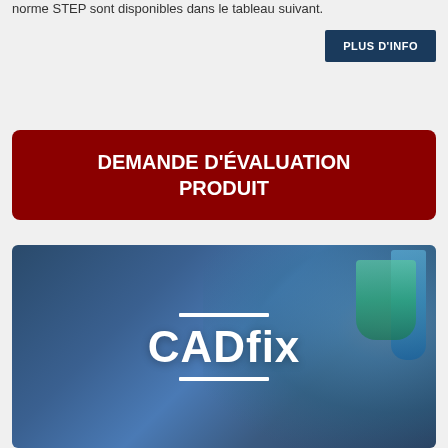norme STEP sont disponibles dans le tableau suivant.
[Figure (other): Dark blue button labeled PLUS D'INFO]
[Figure (other): Red rounded rectangle button with text DEMANDE D'ÉVALUATION PRODUIT]
[Figure (screenshot): CADfix product logo on a blue-tinted background with a 3D CAD model visible on the right, showing the CADfix branding with white horizontal lines above and below the text]